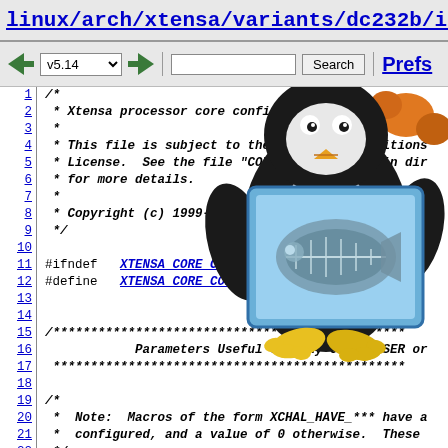linux/arch/xtensa/variants/dc232b/include/variant
v5.14 | Search | Prefs
1  /*
2   * Xtensa processor core configuration information.
3   *
4   * This file is subject to the terms and conditions
5   * License.  See the file "COPYING" in the main dir
6   * for more details.
7   *
8   * Copyright (c) 1999-2007 Tensilica Inc.
9   */
10
11  #ifndef   XTENSA_CORE_CONFIGURATION_H
12  #define   XTENSA_CORE_CONFIGURATION_H
13
14
15  /****************************************************
16              Parameters Useful for Any Code, USER or
17   ***************************************************
18
19  /*
20   *  Note:  Macros of the form XCHAL_HAVE_*** have a
21   *  configured, and a value of 0 otherwise.  These 
22   */
23